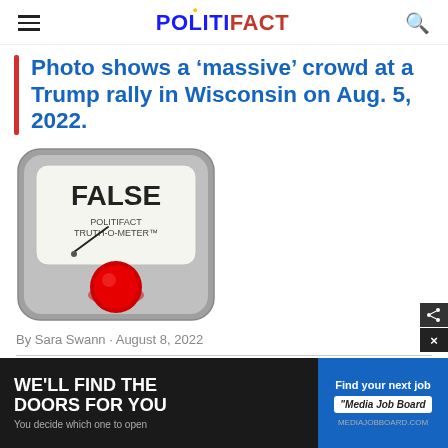POLITIFACT
Photo shows a ‘massive’ crowd at a Trump rally in Wisconsin on Aug. 5, 2022.
[Figure (illustration): PolitiFact Truth-O-Meter gauge showing FALSE rating with red indicator button at bottom left]
By Sara Swann · August 8, 2022
For th… on ba… son
[Figure (infographic): Advertisement banner: left side dark background with text WE'LL FIND THE DOORS FOR YOU, You decide which one to open; right side blue background with Find your next job and Media Job Board logo]